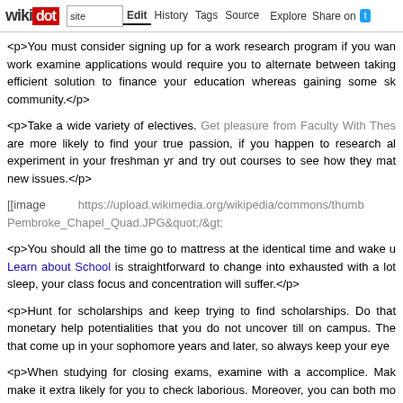wikidot | site | Edit | History | Tags | Source | Explore | Share on [Twitter]
<p>You must consider signing up for a work research program if you wan work examine applications would require you to alternate between taking efficient solution to finance your education whereas gaining some sk community.</p>
<p>Take a wide variety of electives. Get pleasure from Faculty With Thes are more likely to find your true passion, if you happen to research al experiment in your freshman yr and try out courses to see how they mat new issues.</p>
[[image https://upload.wikimedia.org/wikipedia/commons/thumb Pembroke_Chapel_Quad.JPG&quot;/&gt;
<p>You should all the time go to mattress at the identical time and wake u Learn about School is straightforward to change into exhausted with a lot sleep, your class focus and concentration will suffer.</p>
<p>Hunt for scholarships and keep trying to find scholarships. Do that monetary help potentialities that you do not uncover till on campus. The that come up in your sophomore years and later, so always keep your eye</p>
<p>When studying for closing exams, examine with a accomplice. Mak make it extra likely for you to check laborious. Moreover, you can both mo will keep you on track and is the best method for reaching good grades.</p>
<p>Many faculties supply work research packages. Expertise is a big as goes well, the corporate who employed you could determine to assist yo full-time foundation once you graduate. Also, don't neglect the significanc resume.</p>